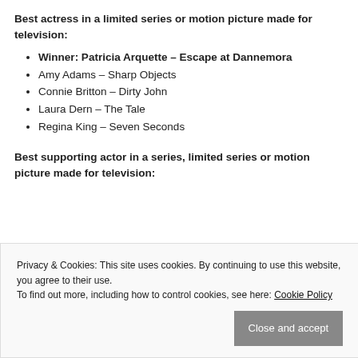Best actress in a limited series or motion picture made for television:
Winner: Patricia Arquette – Escape at Dannemora
Amy Adams – Sharp Objects
Connie Britton – Dirty John
Laura Dern – The Tale
Regina King – Seven Seconds
Best supporting actor in a series, limited series or motion picture made for television:
Privacy & Cookies: This site uses cookies. By continuing to use this website, you agree to their use. To find out more, including how to control cookies, see here: Cookie Policy
Close and accept